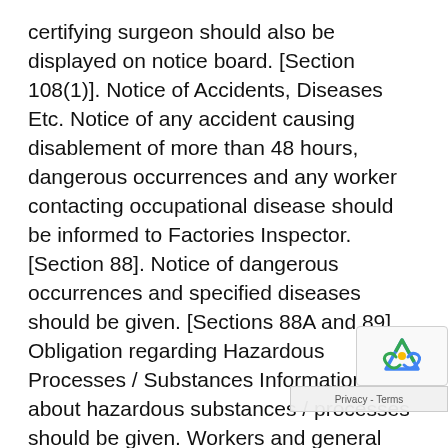certifying surgeon should also be displayed on notice board. [Section 108(1)]. Notice of Accidents, Diseases Etc. Notice of any accident causing disablement of more than 48 hours, dangerous occurrences and any worker contacting occupational disease should be informed to Factories Inspector. [Section 88]. Notice of dangerous occurrences and specified diseases should be given. [Sections 88A and 89]. Obligation regarding Hazardous Processes / Substances Information about hazardous substances / processes should be given. Workers and general public in vicinity should be informed about dangers and health hazards. Safety measures and emergency plan should be ready. Safety Committee should be appointed. 142 Summer Training Report | Turt Softech Pvt. Ltd. | Human Resource Department FINDINGS, RESEARCH AND RESOLUTION 143 Summer Training Report | Turt Softech Pvt. Ltd. | Human Resource Department HR